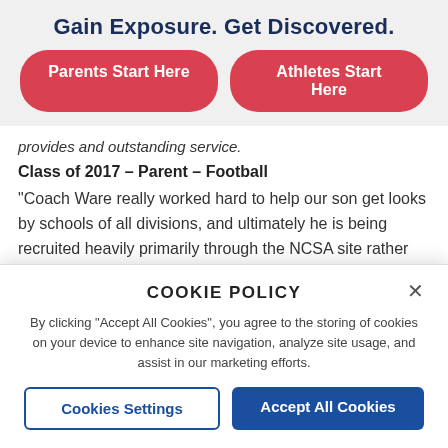Gain Exposure. Get Discovered.
Parents Start Here | Athletes Start Here
provides and outstanding service.
Class of 2017 – Parent – Football
“Coach Ware really worked hard to help our son get looks by schools of all divisions, and ultimately he is being recruited heavily primarily through the NCSA site rather than high school coaches and local gurus.  My son will be attending a fine institution partly due to Coach Ware and
COOKIE POLICY
By clicking “Accept All Cookies”, you agree to the storing of cookies on your device to enhance site navigation, analyze site usage, and assist in our marketing efforts.
Cookies Settings | Accept All Cookies